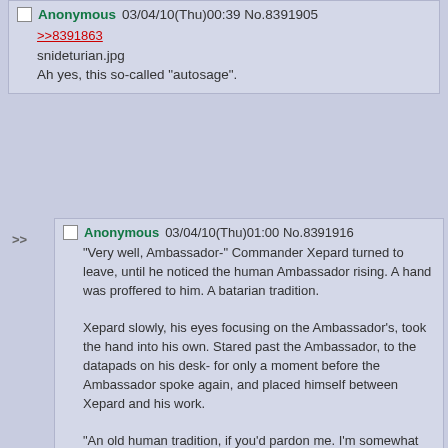Anonymous 03/04/10(Thu)00:39 No.8391905
>>8391863
snideturian.jpg
Ah yes, this so-called "autosage".
Anonymous 03/04/10(Thu)01:00 No.8391916
"Very well, Ambassador-" Commander Xepard turned to leave, until he noticed the human Ambassador rising. A hand was proffered to him. A batarian tradition.

Xepard slowly, his eyes focusing on the Ambassador's, took the hand into his own. Stared past the Ambassador, to the datapads on his desk- for only a moment before the Ambassador spoke again, and placed himself between Xepard and his work.

"An old human tradition, if you'd pardon me. I'm somewhat sentimental for the past," The Ambassador smiled then, unhealthy white shining from between red lips, "I heard your people had a similar tradition, and decided to indulge."
"Yes, we do. A moment of trust, allowing us both a set of eyes to share security in all directions."
"Really? Ours was to make sure the other didn't have a weapon in hand to kill us with," The Ambassador shrugged, as he sat down, and turned his chair away, "I suppose that's something in common. Both useless in this day and age, eh? Thank you, Commander Xepard.